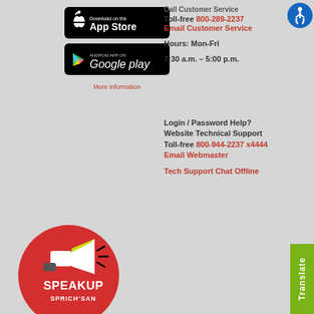[Figure (logo): Download on the App Store button (black rounded rectangle with Apple logo)]
[Figure (logo): Android App on Google Play button (black rounded rectangle with Google Play logo)]
More information
Call Customer Service
Toll-free 800-289-2237
Email Customer Service

Hours: Mon-Fri
7:30 a.m. – 5:00 p.m.
[Figure (logo): Accessibility wheelchair icon (blue circle)]
Login / Password Help?
Website Technical Support
Toll-free 800-944-2237 x4444
Email Webmaster

Tech Support Chat Offline
[Figure (logo): SpeakUp / Sprich'san red circle logo with megaphone]
[Figure (other): Translate green button on right side]